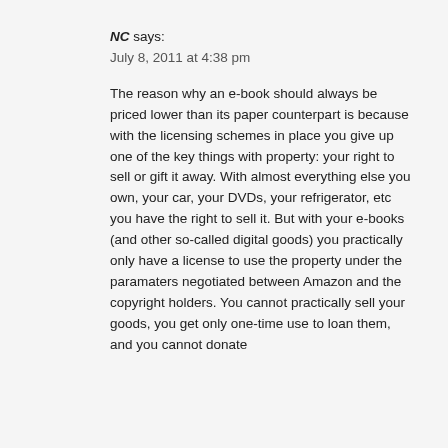NC says:
July 8, 2011 at 4:38 pm
The reason why an e-book should always be priced lower than its paper counterpart is because with the licensing schemes in place you give up one of the key things with property: your right to sell or gift it away. With almost everything else you own, your car, your DVDs, your refrigerator, etc you have the right to sell it. But with your e-books (and other so-called digital goods) you practically only have a license to use the property under the paramaters negotiated between Amazon and the copyright holders. You cannot practically sell your goods, you get only one-time use to loan them, and you cannot donate